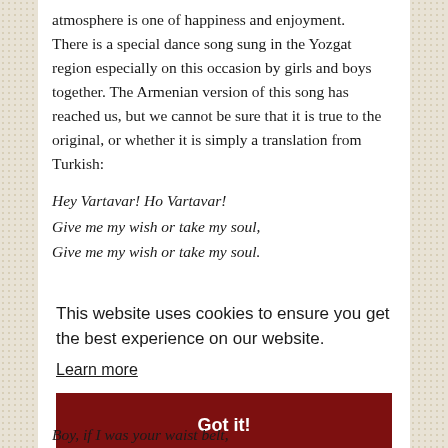atmosphere is one of happiness and enjoyment. There is a special dance song sung in the Yozgat region especially on this occasion by girls and boys together. The Armenian version of this song has reached us, but we cannot be sure that it is true to the original, or whether it is simply a translation from Turkish:
Hey Vartavar! Ho Vartavar!
Give me my wish or take my soul,
Give me my wish or take my soul.
This website uses cookies to ensure you get the best experience on our website.
Learn more
Got it!
Boy, if I was your waist belt,